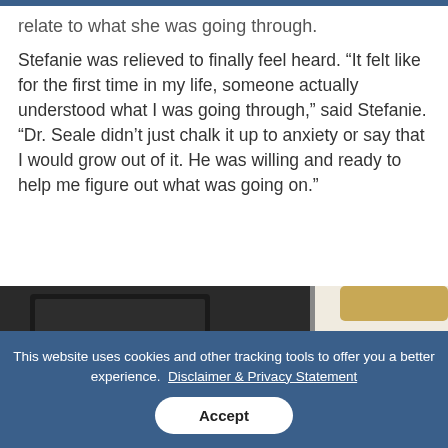relate to what she was going through.
Stefanie was relieved to finally feel heard. “It felt like for the first time in my life, someone actually understood what I was going through,” said Stefanie. “Dr. Seale didn’t just chalk it up to anxiety or say that I would grow out of it. He was willing and ready to help me figure out what was going on.”
[Figure (photo): Partial view of a medical device and a person in a clinical or office setting]
This website uses cookies and other tracking tools to offer you a better experience. Disclaimer & Privacy Statement
Accept